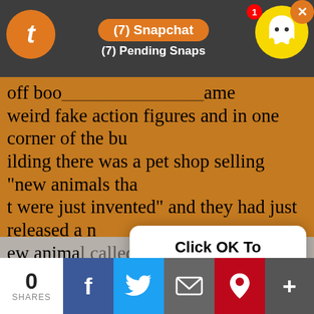[Figure (screenshot): Screenshot of a mobile web page showing a Tumblr blog post overlaid with a Snapchat notification banner at the top and an 'Click OK To Continue' modal dialog in the center. The blog post text discusses a dream about a shitty run down shopping mall with weird fake action figures and a pet shop selling 'new animals that were just invented' including a 'shrewmonkey'. Below the modal is a gray area with a partial sketch of an animal. At the bottom is a social share bar with 0 shares, Facebook, Twitter, email, Pinterest, and more buttons.]
I had a dream I was in a shitty run down shopping... off boo... weird fake action figures and in one corner of the building there was a pet shop selling "new animals that were just invented" and they had just released a new animal called a "shrewmonkey" and everyone who saw it immediately thought it was the cutest thing they'd ever seen and desperately wanted to buy one. it was about the size of a rat and looked like this